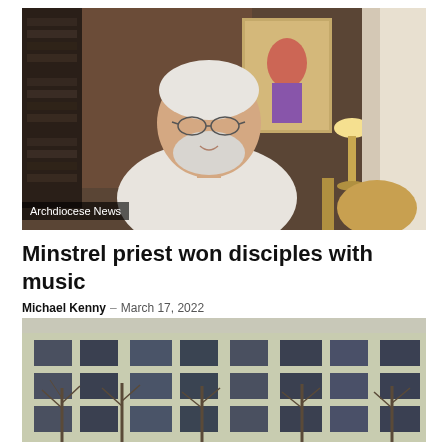[Figure (photo): Elderly white-haired man with glasses and beard wearing a white shirt, playing guitar indoors with a painting and lamp in background. Label overlay: 'Archdiocese News']
Minstrel priest won disciples with music
Michael Kenny – March 17, 2022
[Figure (photo): Damaged apartment building exterior, pale yellow/green facade with multiple windows broken or missing, bare trees in foreground, wintry scene.]